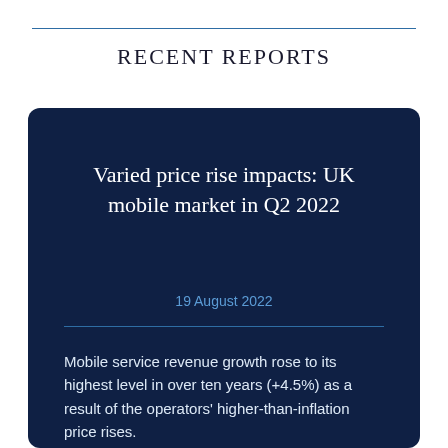RECENT REPORTS
Varied price rise impacts: UK mobile market in Q2 2022
19 August 2022
Mobile service revenue growth rose to its highest level in over ten years (+4.5%) as a result of the operators' higher-than-inflation price rises.
BT/EE fared best with broadly-applied, sizeable increases and robust churn while H3G's more modest increases and later timing led to just a minor pickup in